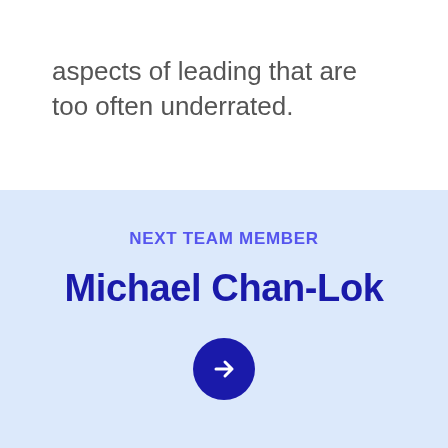aspects of leading that are too often underrated.
NEXT TEAM MEMBER
Michael Chan-Lok
[Figure (illustration): Dark blue circle with a white right-pointing arrow icon]